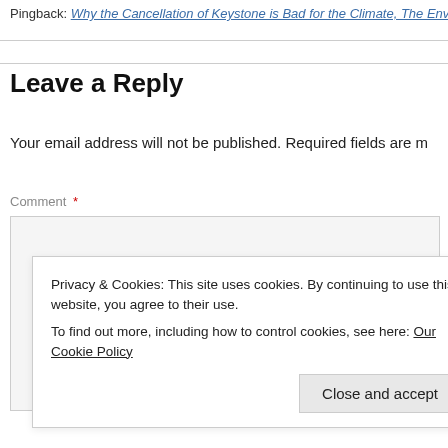Pingback: Why the Cancellation of Keystone is Bad for the Climate, The Envir…
Leave a Reply
Your email address will not be published. Required fields are m…
Comment *
Privacy & Cookies: This site uses cookies. By continuing to use this website, you agree to their use.
To find out more, including how to control cookies, see here: Our Cookie Policy
Close and accept